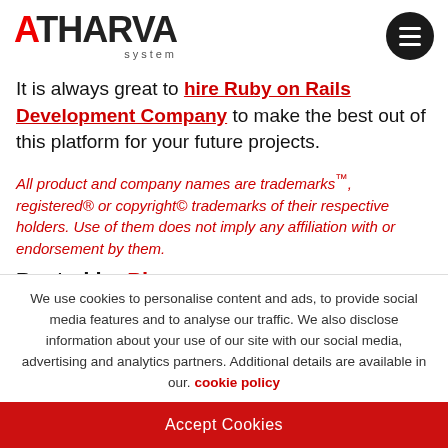[Figure (logo): Atharva System logo — ATHARVA in large bold text with 'A' in red and rest in dark/black, 'system' in small gray spaced text below]
It is always great to hire Ruby on Rails Development Company to make the best out of this platform for your future projects.
All product and company names are trademarks™, registered® or copyright© trademarks of their respective holders. Use of them does not imply any affiliation with or endorsement by them.
We use cookies to personalise content and ads, to provide social media features and to analyse our traffic. We also disclose information about your use of our site with our social media, advertising and analytics partners. Additional details are available in our. cookie policy
Accept Cookies